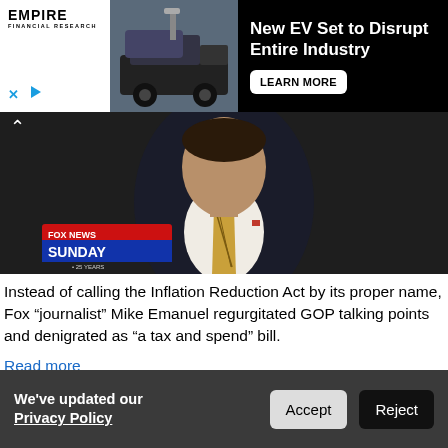[Figure (advertisement): Empire Financial Research ad alongside a 'New EV Set to Disrupt Entire Industry' advertisement with truck image and LEARN MORE button on black background]
[Figure (screenshot): Fox News Sunday video thumbnail showing a man in a suit with gold tie, Fox News Sunday logo overlay]
Instead of calling the Inflation Reduction Act by its proper name, Fox “journalist” Mike Emanuel regurgitated GOP talking points and denigrated as “a tax and spend” bill.
Read more
1 reaction   Share
We’ve updated our Privacy Policy   Accept   Reject